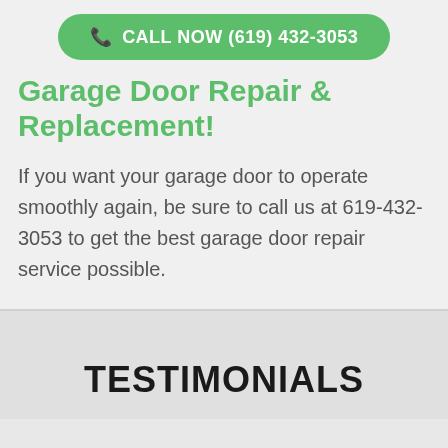CALL NOW (619) 432-3053
Garage Door Repair & Replacement!
If you want your garage door to operate smoothly again, be sure to call us at 619-432-3053 to get the best garage door repair service possible.
TESTIMONIALS